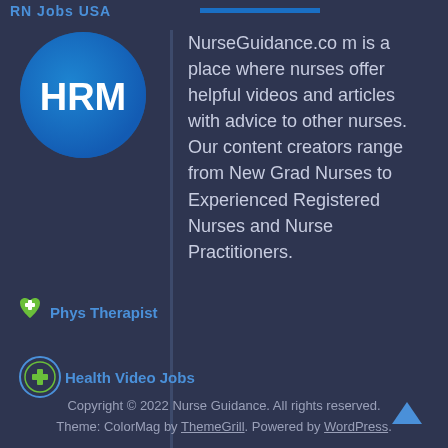[Figure (logo): Partial 'RN Jobs USA' header text in blue with a blue horizontal bar]
[Figure (logo): HRM logo: blue circle with white 'HRM' letters]
NurseGuidance.com is a place where nurses offer helpful videos and articles with advice to other nurses. Our content creators range from New Grad Nurses to Experienced Registered Nurses and Nurse Practitioners.
[Figure (logo): Phys Therapist logo with green heart and blue text 'Phys Therapist']
[Figure (logo): Health Video Jobs logo with circular icon and blue text 'Health Video Jobs']
Copyright © 2022 Nurse Guidance. All rights reserved. Theme: ColorMag by ThemeGrill. Powered by WordPress.